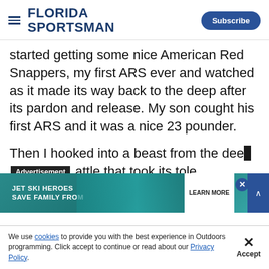Florida Sportsman | Subscribe
started getting some nice American Red Snappers, my first ARS ever and watched as it made its way back to the deep after its pardon and release. My son cought his first ARS and it was a nice 23 pounder.
Then I hooked into a beast from the deep [Advertisement] attle that took its tole
[Figure (screenshot): Advertisement banner: JET SKI HEROES SAVE FAMILY FROM - LEARN MORE button with ocean/boat background image]
We use cookies to provide you with the best experience in Outdoors programming. Click accept to continue or read about our Privacy Policy.